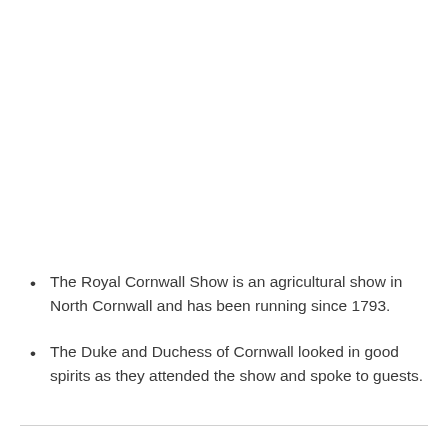The Royal Cornwall Show is an agricultural show in North Cornwall and has been running since 1793.
The Duke and Duchess of Cornwall looked in good spirits as they attended the show and spoke to guests.